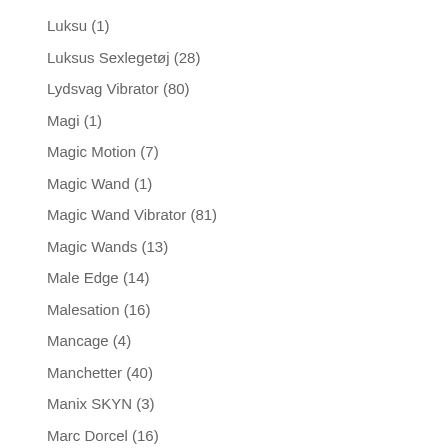Luksu (1)
Luksus Sexlegetøj (28)
Lydsvag Vibrator (80)
Magi (1)
Magic Motion (7)
Magic Wand (1)
Magic Wand Vibrator (81)
Magic Wands (13)
Male Edge (14)
Malesation (16)
Mancage (4)
Manchetter (40)
Manix SKYN (3)
Marc Dorcel (16)
Masker (21)